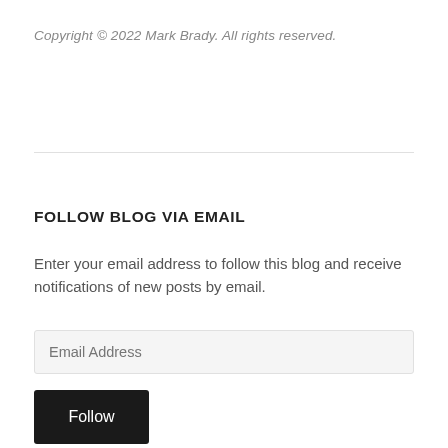Copyright © 2022 Mark Brady.  All rights reserved.
FOLLOW BLOG VIA EMAIL
Enter your email address to follow this blog and receive notifications of new posts by email.
Email Address
Follow